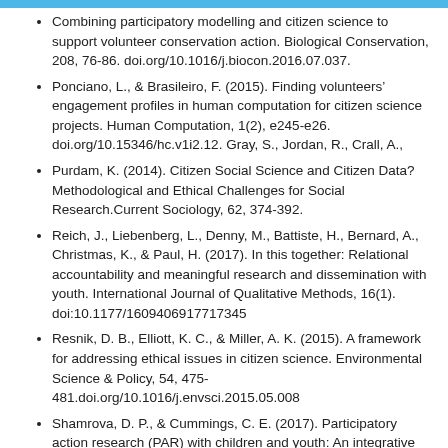Combining participatory modelling and citizen science to support volunteer conservation action. Biological Conservation, 208, 76-86. doi.org/10.1016/j.biocon.2016.07.037.
Ponciano, L., & Brasileiro, F. (2015). Finding volunteers' engagement profiles in human computation for citizen science projects. Human Computation, 1(2), e245-e26. doi.org/10.15346/hc.v1i2.12. Gray, S., Jordan, R., Crall, A.,
Purdam, K. (2014). Citizen Social Science and Citizen Data? Methodological and Ethical Challenges for Social Research.Current Sociology, 62, 374-392.
Reich, J., Liebenberg, L., Denny, M., Battiste, H., Bernard, A., Christmas, K., & Paul, H. (2017). In this together: Relational accountability and meaningful research and dissemination with youth. International Journal of Qualitative Methods, 16(1). doi:10.1177/1609406917717345
Resnik, D. B., Elliott, K. C., & Miller, A. K. (2015). A framework for addressing ethical issues in citizen science. Environmental Science & Policy, 54, 475-481.doi.org/10.1016/j.envsci.2015.05.008
Shamrova, D. P., & Cummings, C. E. (2017). Participatory action research (PAR) with children and youth: An integrative review of methodology and PAR outcomes for participants